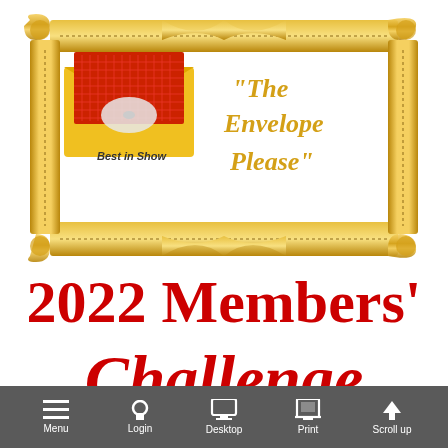[Figure (illustration): Gold decorative ribbon frame border with white interior. Inside: a yellow envelope with a red-patterned card labeled 'Best in Show', and italic gold text reading '"The Envelope Please"']
2022 Members' Challenge
[Figure (other): Mobile browser toolbar with icons for Menu, Login, Desktop, Print, Scroll up on dark gray background]